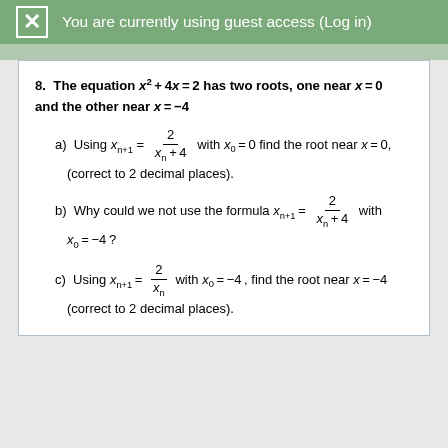You are currently using guest access (Log in)
8. The equation x² + 4x = 2 has two roots, one near x = 0 and the other near x = −4
a) Using x_{n+1} = 2/(x_n + 4) with x_0 = 0 find the root near x = 0, (correct to 2 decimal places).
b) Why could we not use the formula x_{n+1} = 2/(x_n + 4) with x_0 = −4?
c) Using x_{n+1} = 2/x_n with x_0 = −4, find the root near x = −4 (correct to 2 decimal places).